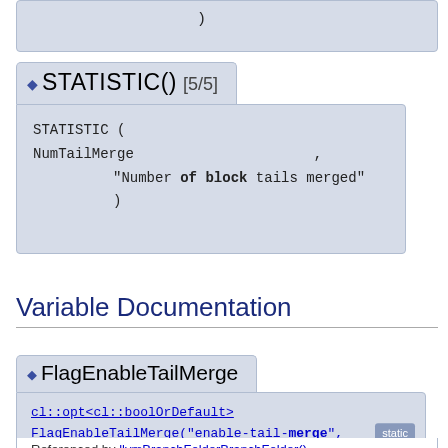)
◆ STATISTIC() [5/5]
STATISTIC ( NumTailMerge
                    ,
                    "Number of block tails merged"
                    )
Variable Documentation
◆ FlagEnableTailMerge
cl::opt<cl::boolOrDefault> FlagEnableTailMerge("enable-tail-merge", cl::init(cl::BOU_UNSET), cl::Hidden)  static
Referenced by llvmBranchFolderBranchFolder()